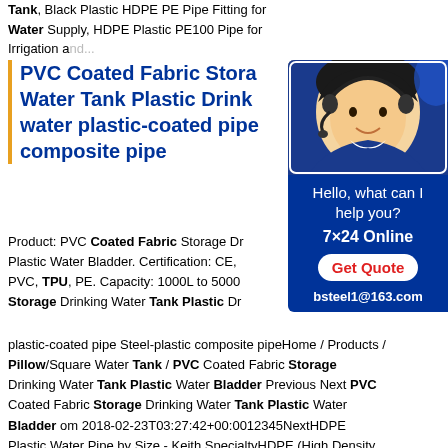Tank, Black Plastic HDPE PE Pipe Fitting for Water Supply, HDPE Plastic PE100 Pipe for Irrigation and...
PVC Coated Fabric Storage Water Tank Plastic Drinking water plastic-coated pipe composite pipe
Product: PVC Coated Fabric Storage Drinking Plastic Water Bladder. Certification: CE, PVC, TPU, PE. Capacity: 1000L to 5000 Storage Drinking Water Tank Plastic Dr... plastic-coated pipe Steel-plastic composite pipeHome / Products / Pillow/Square Water Tank / PVC Coated Fabric Storage Drinking Water Tank Plastic Water Bladder Previous Next PVC Coated Fabric Storage Drinking Water Tank Plastic Water Bladder om 2018-02-23T03:27:42+00:0012345NextHDPE Plastic Water Pipe by Size - Keith SpecialtyHDPE (High Density...
[Figure (photo): Customer service representative with headset, chat widget with 'Hello, what can I help you?', '7x24 Online', 'Get Quote' button, and email bsteel1@163.com on blue background]